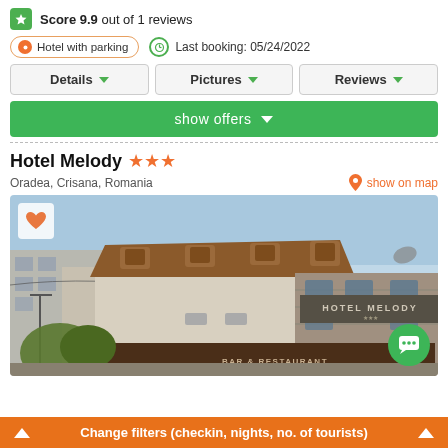Score 9.9 out of 1 reviews
Hotel with parking   Last booking: 05/24/2022
Details   Pictures   Reviews
show offers
Hotel Melody ★★★
Oradea, Crisana, Romania
show on map
[Figure (photo): Exterior photo of Hotel Melody, a 3-star hotel building in Oradea, Romania, showing the facade with HOTEL MELODY and BAR & RESTAURANT signage]
Change filters (checkin, nights, no. of tourists)